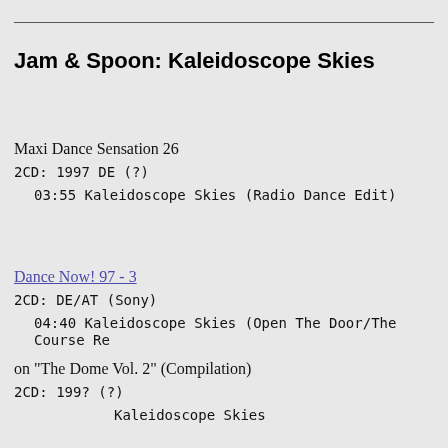Jam & Spoon: Kaleidoscope Skies
Maxi Dance Sensation 26
2CD: 1997 DE (?)
03:55  Kaleidoscope Skies (Radio Dance Edit)
Dance Now! 97 - 3
2CD: DE/AT (Sony)
04:40  Kaleidoscope Skies (Open The Door/The Course Re…
on "The Dome Vol. 2" (Compilation)
2CD: 199? (?)
Kaleidoscope Skies